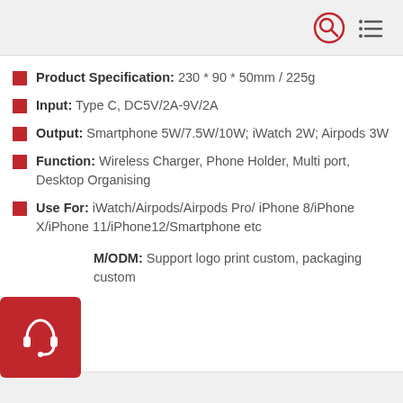[Figure (other): Top navigation bar with search icon (red circle with magnifying glass) and menu icon (three horizontal lines)]
Product Specification: 230 * 90 * 50mm / 225g
Input: Type C, DC5V/2A-9V/2A
Output: Smartphone 5W/7.5W/10W; iWatch 2W; Airpods 3W
Function: Wireless Charger, Phone Holder, Multi port, Desktop Organising
Use For: iWatch/Airpods/Airpods Pro/ iPhone 8/iPhone X/iPhone 11/iPhone12/Smartphone etc
OEM/ODM: Support logo print custom, packaging custom
[Figure (other): Red square button with white headset/support icon]